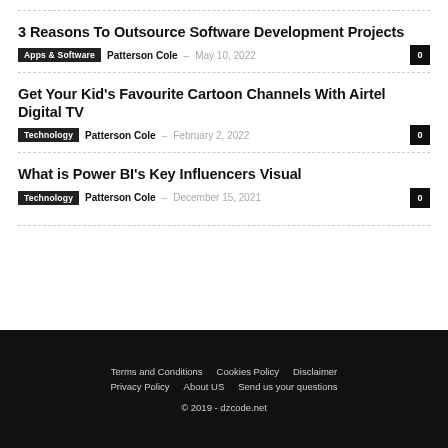3 Reasons To Outsource Software Development Projects
Apps & Software  Patterson Cole  –  May 10, 2022  0
Get Your Kid's Favourite Cartoon Channels With Airtel Digital TV
Technology  Patterson Cole  –  February 2, 2022  0
What is Power BI's Key Influencers Visual
Technology  Patterson Cole  –  December 15, 2021  0
Terms and Conditions  Cookies Policy  Disclaimer  Privacy Policy  About US  Send us your questions  © 2019 - dzcode.net